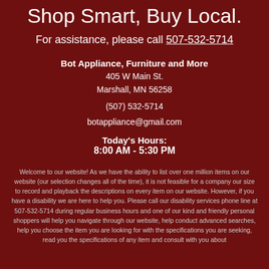Shop Smart, Buy Local.
For assistance, please call 507-532-5714
Bot Appliance, Furniture and More
405 W Main St.
Marshall, MN 56258
(507) 532-5714
botappliance@gmail.com
Today's Hours:
8:00 AM - 5:30 PM
Welcome to our website! As we have the ability to list over one million items on our website (our selection changes all of the time), it is not feasible for a company our size to record and playback the descriptions on every item on our website. However, if you have a disability we are here to help you. Please call our disability services phone line at 507-532-5714 during regular business hours and one of our kind and friendly personal shoppers will help you navigate through our website, help conduct advanced searches, help you choose the item you are looking for with the specifications you are seeking, read you the specifications of any item and consult with you about